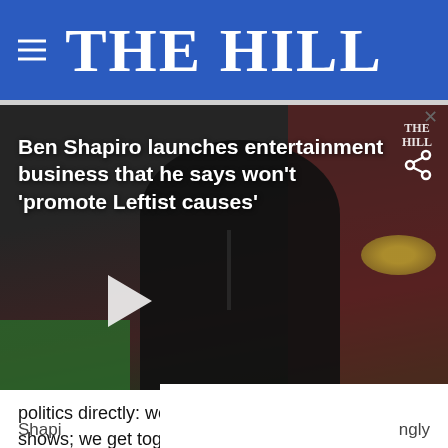THE HILL
[Figure (screenshot): Video thumbnail showing a man speaking at a podium with 'THE HILL' watermark and overlay text: 'Ben Shapiro launches entertainment business that he says won’t ‘promote Leftist causes’' with a play button and share icon]
politics directly: we consume movies and TV shows; we get together and discuss the latest in sp[orts]... we swim [in a sea of culture," he explains.
Shapi[ro says...] [ngly